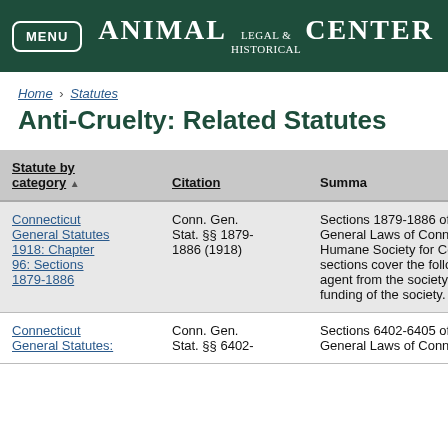MENU | ANIMAL LEGAL & HISTORICAL CENTER
Home › Statutes
Anti-Cruelty: Related Statutes
| Statute by category | Citation | Summary |
| --- | --- | --- |
| Connecticut General Statutes 1918: Chapter 96: Sections 1879-1886 | Conn. Gen. Stat. §§ 1879-1886 (1918) | Sections 1879-1886 of Chapter General Laws of Connecticut cover Humane Society for Connecticut sections cover the following topics: agent from the society, the definition, funding of the society. |
| Connecticut General Statutes: | Conn. Gen. Stat. §§ 6402- | Sections 6402-6405 of Chapter General Laws of Connecticut |